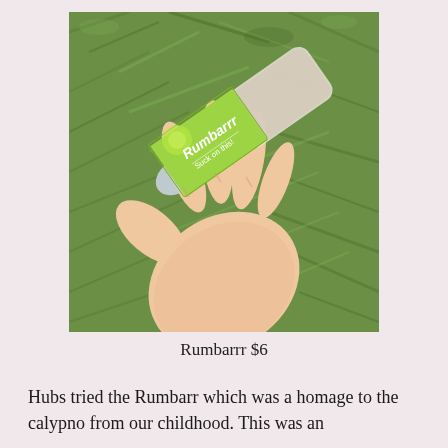[Figure (photo): A hand holding a Rumbarrr ice lolly/ice pop in a clear plastic tube with a green label reading 'Rumbarrr Suck on this!' against a green grass background]
Rumbarrr $6
Hubs tried the Rumbarr which was a homage to the calypno from our childhood. This was an